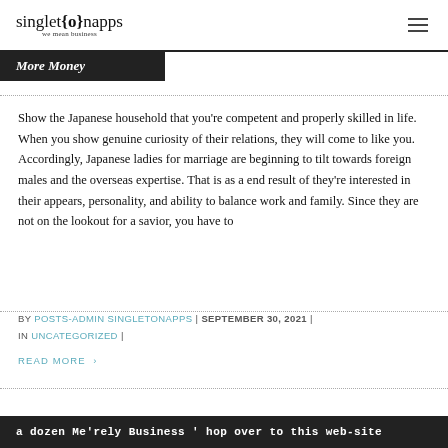singleton{o}napps we mean business
More Money
Show the Japanese household that you're competent and properly skilled in life. When you show genuine curiosity of their relations, they will come to like you. Accordingly, Japanese ladies for marriage are beginning to tilt towards foreign males and the overseas expertise. That is as a end result of they're interested in their appears, personality, and ability to balance work and family. Since they are not on the lookout for a savior, you have to
BY POSTS-ADMIN SINGLETONAPPS | SEPTEMBER 30, 2021 | IN UNCATEGORIZED |
READ MORE ›
a dozen Me'rely Business ' hop over to this web-site